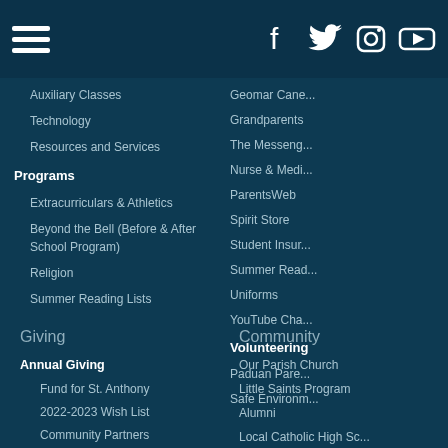Navigation header with hamburger menu and social icons (Facebook, Twitter, Instagram, YouTube)
Auxiliary Classes
Technology
Resources and Services
Programs
Extracurriculars & Athletics
Beyond the Bell (Before & After School Program)
Religion
Summer Reading Lists
Geomar Cane...
Grandparents
The Messeng...
Nurse & Medi...
ParentsWeb
Spirit Store
Student Insur...
Summer Read...
Uniforms
YouTube Cha...
Volunteering
Paduan Pare...
Safe Environm...
Giving
Annual Giving
Fund for St. Anthony
2022-2023 Wish List
Community Partners
Community
Our Parish Church
Little Saints Program
Alumni
Local Catholic High Sc...